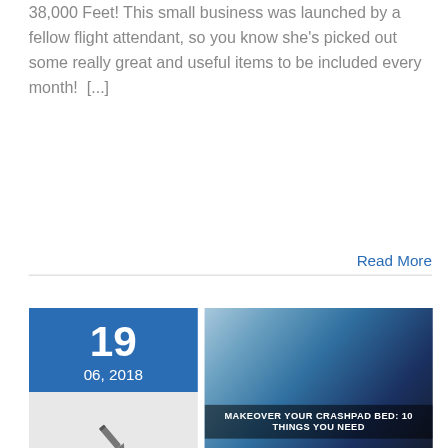38,000 Feet! This small business was launched by a fellow flight attendant, so you know she's picked out some really great and useful items to be included every month!  [...]
Read More
[Figure (photo): Date block showing 19 / 06, 2018 in blue with a pen icon below, next to an article thumbnail image with overlay text MAKEOVER YOUR CRASHPAD BED: 10 THINGS YOU NEED and a Dallas Crashpad logo]
Makeover Your Crashpad Bed: 10 Things You Need